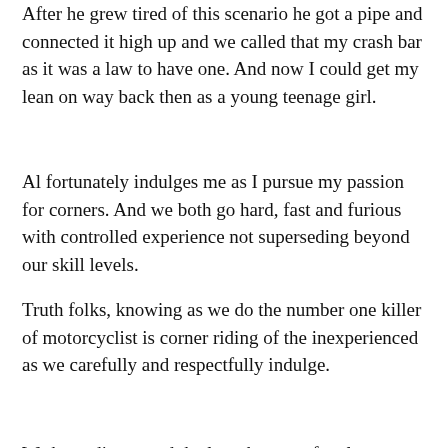After he grew tired of this scenario he got a pipe and connected it high up and we called that my crash bar as it was a law to have one. And now I could get my lean on way back then as a young teenage girl.
Al fortunately indulges me as I pursue my passion for corners. And we both go hard, fast and furious with controlled experience not superseding beyond our skill levels.
Truth folks, knowing as we do the number one killer of motorcyclist is corner riding of the inexperienced as we carefully and respectfully indulge.
We have discovered the laws here are for slower vehicles to use the frequent pull outs on this hwy and they do it very obligingly.